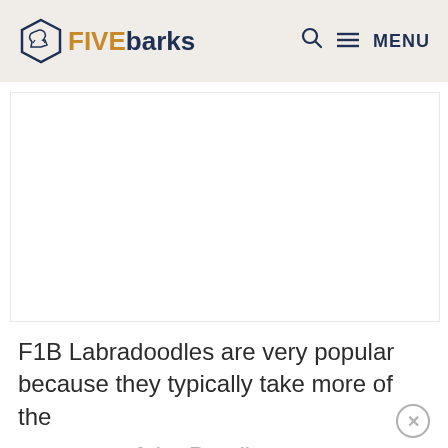FIVEbarks — MENU
[Figure (photo): White/blank image placeholder area for a Labradoodle photo]
F1B Labradoodles are very popular because they typically take more of the coat type of the Poodle parent. That